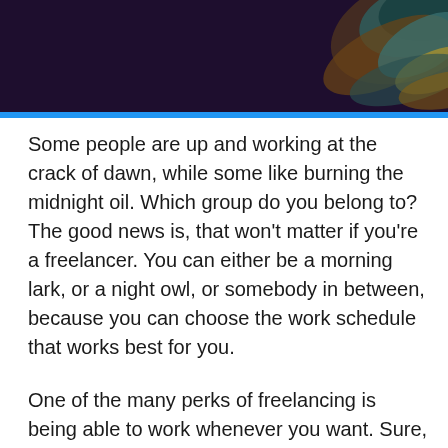[Figure (illustration): Dark navy/purple header banner with decorative swirling shapes in teal, brown, and gold tones in the upper right corner, with a bright blue horizontal bar at the bottom of the banner.]
Some people are up and working at the crack of dawn, while some like burning the midnight oil. Which group do you belong to? The good news is, that won't matter if you're a freelancer. You can either be a morning lark, or a night owl, or somebody in between, because you can choose the work schedule that works best for you.
One of the many perks of freelancing is being able to work whenever you want. Sure, you still have to stick to project timelines or